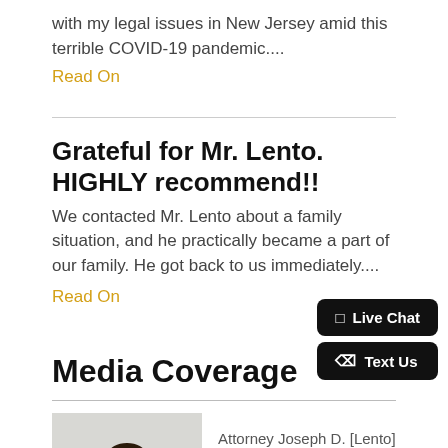with my legal issues in New Jersey amid this terrible COVID-19 pandemic....
Read On
Grateful for Mr. Lento. HIGHLY recommend!!
We contacted Mr. Lento about a family situation, and he practically became a part of our family. He got back to us immediately....
Read On
Media Coverage
[Figure (photo): Photo of Attorney Joseph D. Lento speaking at a podium, wearing a dark suit and tie.]
Attorney Joseph D. [Lento] on behalf of clients in cases featured in the local and national media.
See more